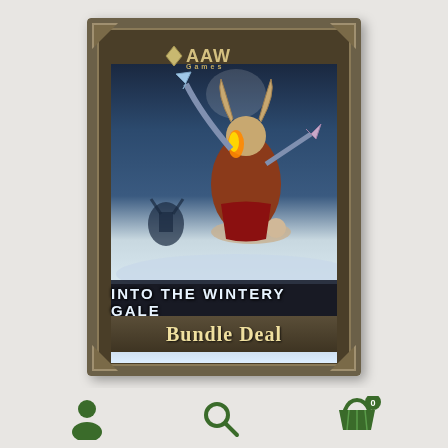[Figure (illustration): Book/product cover for 'Into the Wintery Gale Bundle Deal' by AAW Games. The cover features a fantasy warrior with horns holding a flaming weapon, standing over a fallen foe. The background shows a wintry scene with another beast in the distance. The cover has a stone/metal decorative border, the title 'INTO THE WINTERY GALE' in large text, a Pathfinder Roleplaying Game Compatible logo banner, a snowy ground section, and 'Bundle Deal' in large ornate text at the bottom.]
Justin Andrew Mason, Stephen Rowe
[Figure (illustration): User/person icon - silhouette of a person in dark green]
[Figure (illustration): Search/magnifying glass icon in dark green]
[Figure (illustration): Shopping cart/basket icon in dark green with a badge showing '0']